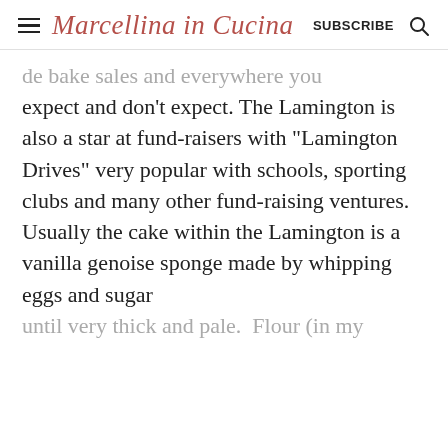Marcellina in Cucina  SUBSCRIBE
de bake sales and everywhere you expect and don't expect. The Lamington is also a star at fund-raisers with “Lamington Drives” very popular with schools, sporting clubs and many other fund-raising ventures.
Usually the cake within the Lamington is a vanilla genoise sponge made by whipping eggs and sugar until very thick and pale.  Flour (in my